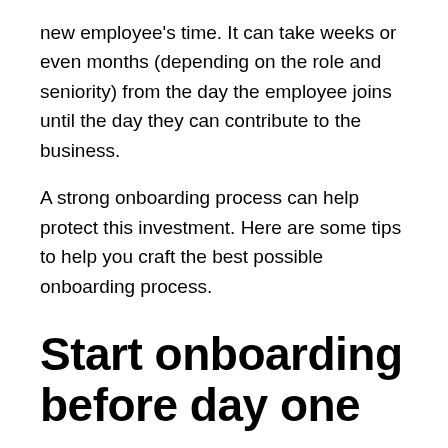new employee's time. It can take weeks or even months (depending on the role and seniority) from the day the employee joins until the day they can contribute to the business.
A strong onboarding process can help protect this investment. Here are some tips to help you craft the best possible onboarding process.
Start onboarding before day one
Many companies will mistakenly wait until the new employee's first day of work to start